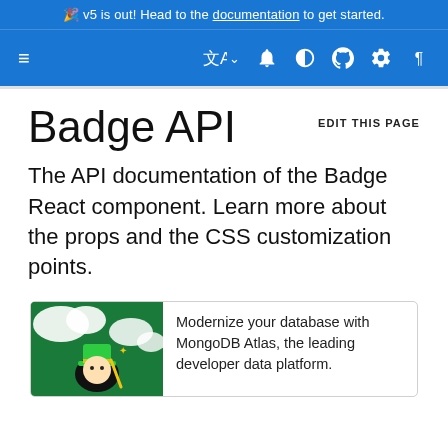🎉 v5 is out! Head to the documentation to get started.
[Figure (screenshot): Navigation bar with hamburger menu, language selector, bell, contrast, github, settings, and RTL icons on blue background]
EDIT THIS PAGE
Badge API
The API documentation of the Badge React component. Learn more about the props and the CSS customization points.
[Figure (illustration): Advertisement box with MongoDB Atlas illustration showing a character with green top hat, and text: Modernize your database with MongoDB Atlas, the leading developer data platform.]